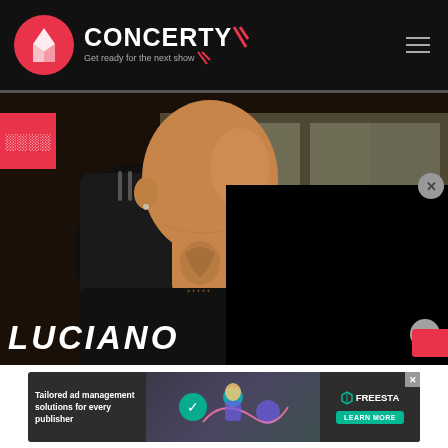CONCERTY - Get ready for the next show
[Figure (photo): Man with neck tattoo seated in a car, viewed from side profile, dark background. Red badge overlay top left. Black panel overlay right side. Large LUCIANO text at bottom.]
LUCIANO
[Figure (infographic): Advertisement banner: Tailored ad management solutions for every publisher - FREESTA - LEARN MORE]